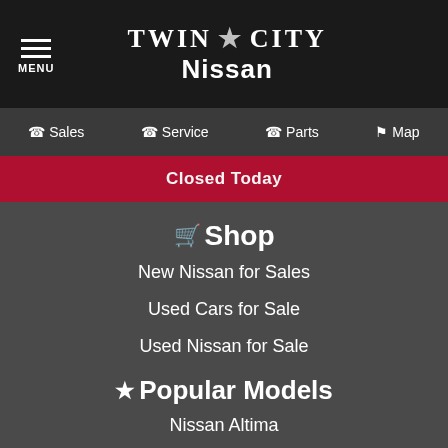TWIN CITY Nissan
Sales
Service
Parts
Map
Closed Today
Shop
New Nissan for Sales
Used Cars for Sale
Used Nissan for Sale
Popular Models
Nissan Altima
Nissan Frontier
Nissan Maxima
Nissan Murano